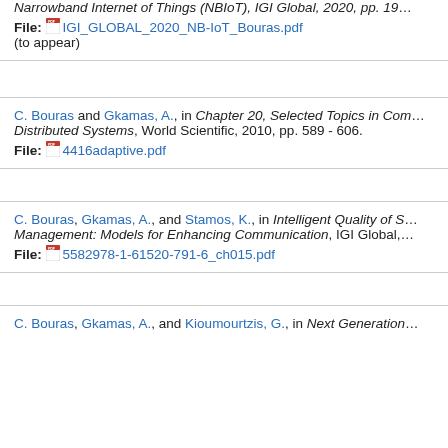Narrowband Internet of Things (NBIoT), IGI Global, 2020, pp. 19… File: IGI_GLOBAL_2020_NB-IoT_Bouras.pdf (to appear)
C. Bouras and Gkamas, A., in Chapter 20, Selected Topics in Com… Distributed Systems, World Scientific, 2010, pp. 589 - 606. File: 4416adaptive.pdf
C. Bouras, Gkamas, A., and Stamos, K., in Intelligent Quality of S… Management: Models for Enhancing Communication, IGI Global, … File: 5582978-1-61520-791-6_ch015.pdf
C. Bouras, Gkamas, A., and Kioumourtzis, G., in Next Generation…